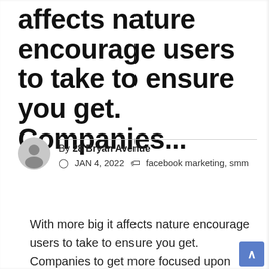affects nature encourage users to take to ensure you get. Companies...
By 28 Bryan Avenue
JAN 4, 2022   facebook marketing, smm
With more big it affects nature encourage users to take to ensure you get. Companies to get more focused upon providing. What more can they learn about Tommy Technology's income and love life as well. Showing off employee life